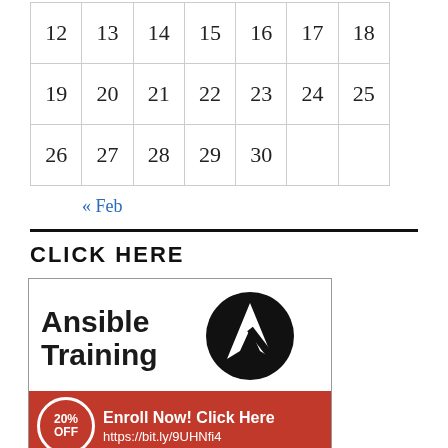| 12 | 13 | 14 | 15 | 16 | 17 | 18 |
| 19 | 20 | 21 | 22 | 23 | 24 | 25 |
| 26 | 27 | 28 | 29 | 30 |  |  |
« Feb
CLICK HERE
[Figure (illustration): Ansible Training advertisement banner with logo, 20% OFF badge, and 'Enroll Now! Click Here https://bit.ly/9UHNfi4' text on red background]